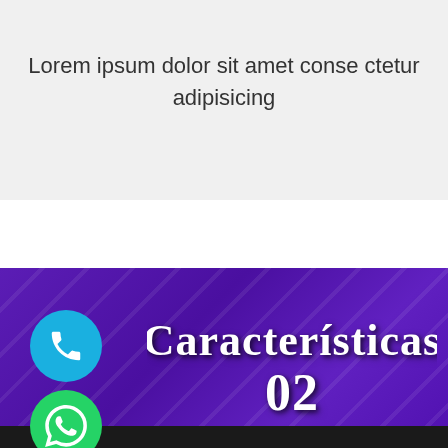Lorem ipsum dolor sit amet conse ctetur adipisicing
[Figure (infographic): Purple banner with decorative diagonal stripe pattern and white handwritten-style text reading 'Características 02', with a blue phone icon button and a green WhatsApp icon button on the left side]